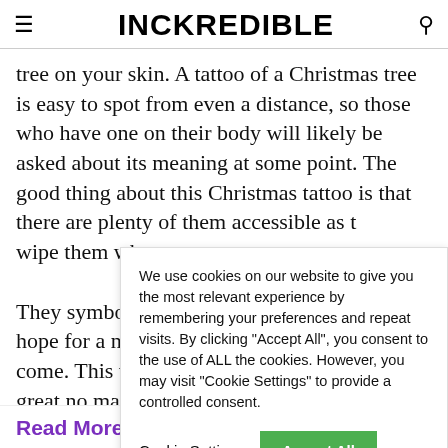INCKREDIBLE
tree on your skin. A tattoo of a Christmas tree is easy to spot from even a distance, so those who have one on their body will likely be asked about its meaning at some point. The good thing about this Christmas tattoo is that there are plenty of them accessible as t… wipe them whe…
We use cookies on our website to give you the most relevant experience by remembering your preferences and repeat visits. By clicking "Accept All", you consent to the use of ALL the cookies. However, you may visit "Cookie Settings" to provide a controlled consent.
They symboliz… hope for a new… come. This tat… great no matte…
Read More: 50 Neck Tattoos For Men